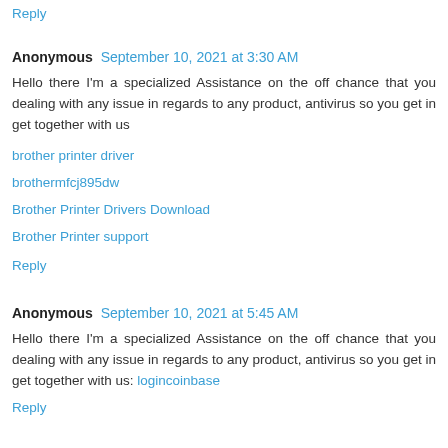Reply
Anonymous  September 10, 2021 at 3:30 AM
Hello there I'm a specialized Assistance on the off chance that you dealing with any issue in regards to any product, antivirus so you get in get together with us
brother printer driver
brothermfcj895dw
Brother Printer Drivers Download
Brother Printer support
Reply
Anonymous  September 10, 2021 at 5:45 AM
Hello there I'm a specialized Assistance on the off chance that you dealing with any issue in regards to any product, antivirus so you get in get together with us: logincoinbase
Reply